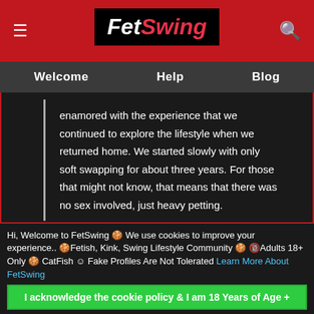FetSwing — Welcome | Help | Blog
enamored with the experience that we continued to explore the lifestyle when we returned home. We started slowly with only soft swapping for about three years. For those that might not know, that means that there was no sex involved, just heavy petting.
We ventured into the lifestyle a little bit deeper and deeper, easing our way to full swapping. Once we made that plunge, it became a part of our life. In late January 2018, I started blogging about our life as a married couple active in the swinger lifestyle.
Hi, Welcome to FetSwing 🍪 We use cookies to improve your experience.. 🍪Fetish, Kink, Swing Lifestyle Community 🍪 🔞Adults 18+ Only 🍪 CatFish ☺ Fake Profiles Are Not Tolerated Learn More About FetSwing
I acknowledge the cookie policy & I am 18 Years of Age +